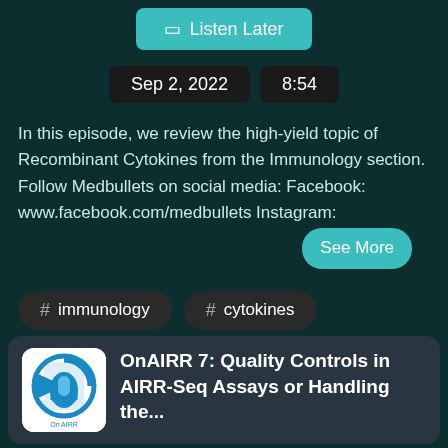[Figure (screenshot): Listen Later button with bookmark icon, teal background]
Sep 2, 2022   8:54
In this episode, we review the high-yield topic of Recombinant Cytokines from the Immunology section. Follow Medbullets on social media: Facebook: www.facebook.com/medbullets Instagram:
See More
# immunology
# cytokines
# recombinant
OnAIRR 7: Quality Controls in AIRR-Seq Assays or Handling the...